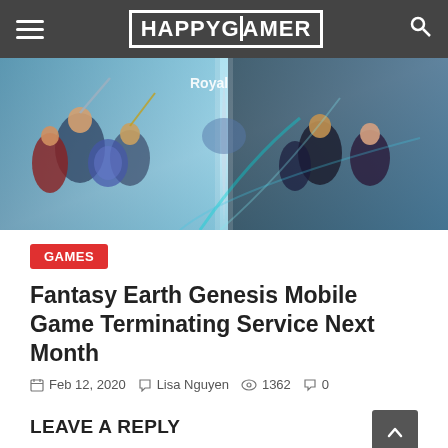HAPPYGAMER
[Figure (illustration): Fantasy RPG artwork showing multiple anime-style characters with weapons on a blue/teal background with 'Royal' text visible]
GAMES
Fantasy Earth Genesis Mobile Game Terminating Service Next Month
Feb 12, 2020  Lisa Nguyen  1362  0
LEAVE A REPLY
Comment: